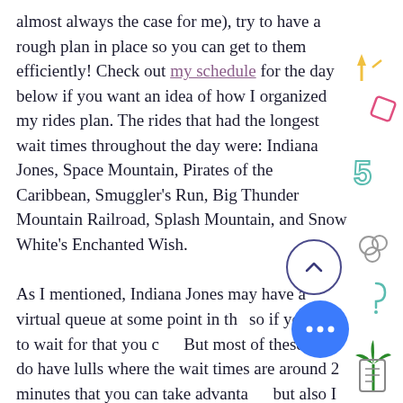almost always the case for me), try to have a rough plan in place so you can get to them efficiently! Check out my schedule for the day below if you want an idea of how I organized my rides plan. The rides that had the longest wait times throughout the day were: Indiana Jones, Space Mountain, Pirates of the Caribbean, Smuggler's Run, Big Thunder Mountain Railroad, Splash Mountain, and Snow White's Enchanted Wish.
As I mentioned, Indiana Jones may have a virtual queue at some point in the day, so if you want to wait for that you can. But most of these rides do have lulls where the wait times are around 20 minutes that you can take advantage of, but also I think the longest wait I saw